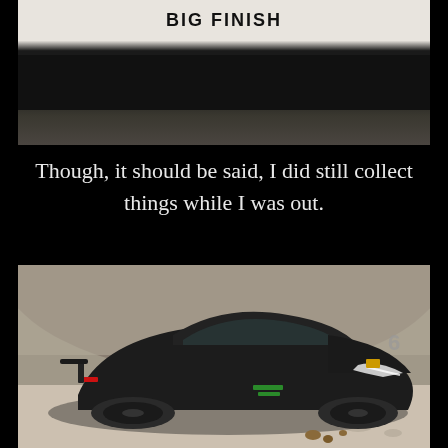[Figure (photo): Partial view of a sign or banner reading 'BIG FINISH' in bold text on a light background, with a dark horizontal band below it.]
Though, it should be said, I did still collect things while I was out.
[Figure (photo): A black matte Lamborghini Aventador sports car photographed in a parking garage or tunnel, angled view showing the front and side with green accents on the wheels and a yellow Lamborghini badge.]